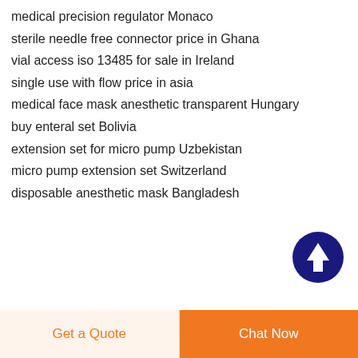medical precision regulator Monaco
sterile needle free connector price in Ghana
vial access iso 13485 for sale in Ireland
single use with flow price in asia
medical face mask anesthetic transparent Hungary
buy enteral set Bolivia
extension set for micro pump Uzbekistan
micro pump extension set Switzerland
disposable anesthetic mask Bangladesh